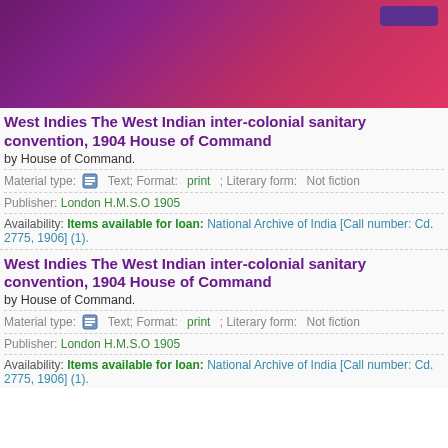[Figure (other): Purple to red gradient header banner with a small button in the top right corner]
West Indies The West Indian inter-colonial sanitary convention, 1904 House of Command
by House of Command.
Material type: [icon] Text; Format: print ; Literary form: Not fiction
Publisher: London H.M.S.O 1905
Availability: Items available for loan: National Archive of India [Call number: Cd. 2775, 1906] (1).
West Indies The West Indian inter-colonial sanitary convention, 1904 House of Command
by House of Command.
Material type: [icon] Text; Format: print ; Literary form: Not fiction
Publisher: London H.M.S.O 1905
Availability: Items available for loan: National Archive of India [Call number: Cd. 2775, 1906] (1).